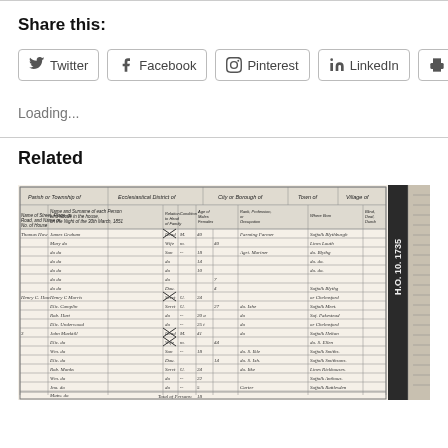Share this:
Twitter
Facebook
Pinterest
LinkedIn
Print
Loading...
Related
[Figure (photo): Scanned historical census document or parish register showing handwritten entries in a grid table format. The document has multiple columns for names, addresses, conditions, ages, birthplaces, and other details. On the right edge there is a label reading H.O. 10. 1735.]